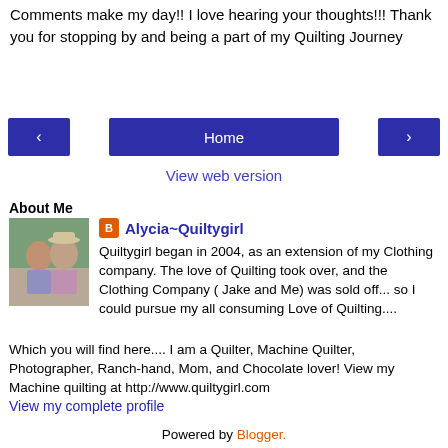Comments make my day!! I love hearing your thoughts!!! Thank you for stopping by and being a part of my Quilting Journey
[Figure (other): Navigation row with left arrow button, Home button, and right arrow button]
View web version
About Me
[Figure (photo): Profile photo of two people, a woman and a man wearing a cowboy hat]
Alycia~Quiltygirl
Quiltygirl began in 2004, as an extension of my Clothing company. The love of Quilting took over, and the Clothing Company ( Jake and Me) was sold off... so I could pursue my all consuming Love of Quilting.... Which you will find here.... I am a Quilter, Machine Quilter, Photographer, Ranch-hand, Mom, and Chocolate lover! View my Machine quilting at http://www.quiltygirl.com
View my complete profile
Powered by Blogger.